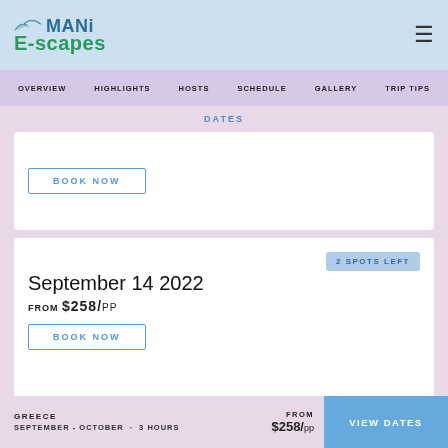[Figure (logo): MANi E-scapes logo with bird icon in teal/green, blue and green text]
OVERVIEW  HIGHLIGHTS  HOSTS  SCHEDULE  GALLERY  TRIP TIPS
DATES
BOOK NOW
2 SPOTS LEFT
September 14 2022
FROM $258/pp
BOOK NOW
GREECE  SEPTEMBER - OCTOBER  ·  3 HOURS  FROM $258/pp  VIEW DATES